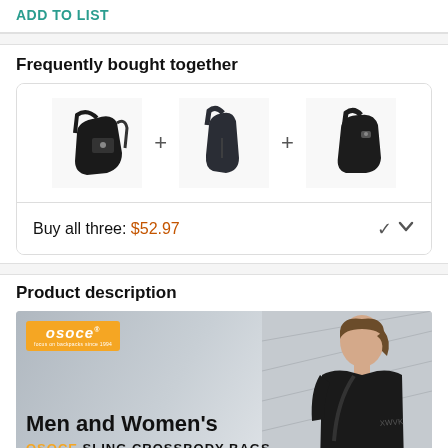ADD TO LIST
Frequently bought together
[Figure (photo): Three black sling crossbody bags shown side by side with plus signs between them, in a product bundle card]
Buy all three: $52.97
Product description
[Figure (photo): OSOCE brand banner showing a woman wearing a black sling crossbody bag, with bold text 'Men and Women's OSOCE SLING CROSSBODY BAGS' and orange OSOCE logo in top left]